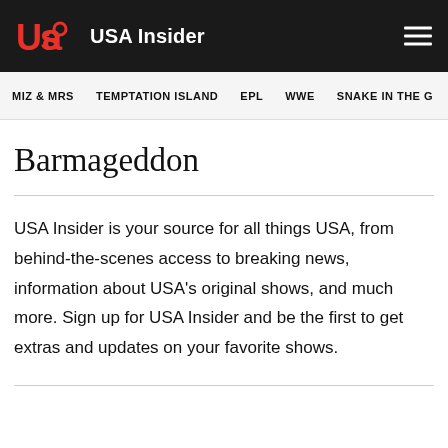USA Insider
MIZ & MRS   TEMPTATION ISLAND   EPL   WWE   SNAKE IN THE G
Barmageddon
USA Insider is your source for all things USA, from behind-the-scenes access to breaking news, information about USA's original shows, and much more. Sign up for USA Insider and be the first to get extras and updates on your favorite shows.